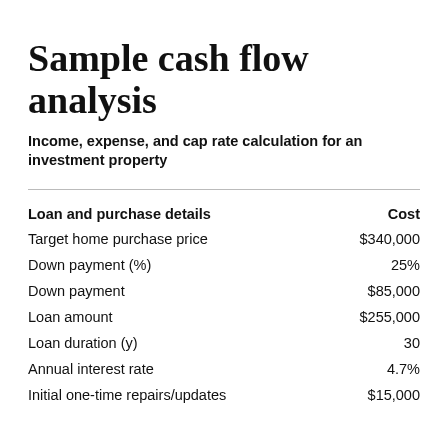Sample cash flow analysis
Income, expense, and cap rate calculation for an investment property
| Loan and purchase details | Cost |
| --- | --- |
| Target home purchase price | $340,000 |
| Down payment (%) | 25% |
| Down payment | $85,000 |
| Loan amount | $255,000 |
| Loan duration (y) | 30 |
| Annual interest rate | 4.7% |
| Initial one-time repairs/updates | $15,000 |